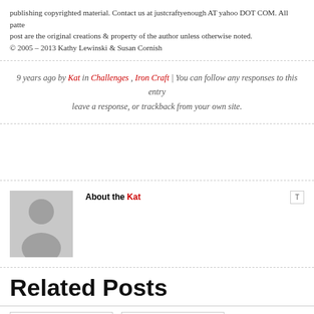publishing copyrighted material. Contact us at justcraftyenough AT yahoo DOT COM. All patterns/projects on this post are the original creations & property of the author unless otherwise noted.
© 2005 – 2013 Kathy Lewinski & Susan Cornish
9 years ago by Kat in Challenges , Iron Craft | You can follow any responses to this entry leave a response, or trackback from your own site.
[Figure (photo): Gray avatar placeholder image showing a generic person silhouette]
About the Kat
Related Posts